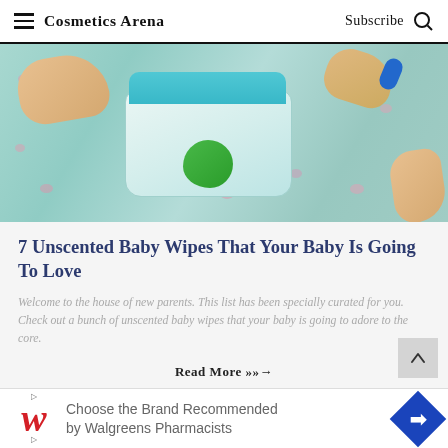Cosmetics Arena  Subscribe
[Figure (photo): Baby lying on a floral patterned blanket with hands touching a package of unscented baby wipes, baby feet visible, blue bracelet on wrist]
7 Unscented Baby Wipes That Your Baby Is Going To Love
Welcome to the house of new parents. This list has been specially curated for you. Check out a bunch of unscented baby wipes that your baby is going to adore to the core.
Read More >>>→
Choose the Brand Recommended by Walgreens Pharmacists